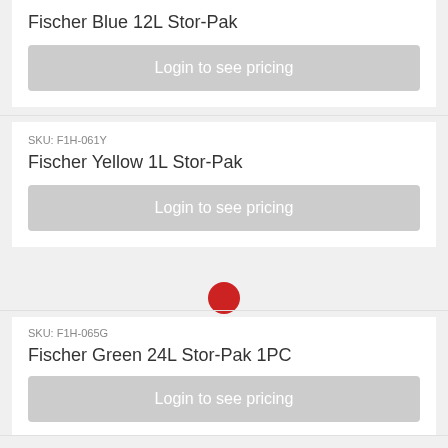Fischer Blue 12L Stor-Pak
Login to see pricing
SKU: F1H-061Y
Fischer Yellow 1L Stor-Pak
Login to see pricing
SKU: F1H-065G
Fischer Green 24L Stor-Pak 1PC
Login to see pricing
SKU: F1H-062G
Fischer Green 2.5L Stor-Pak